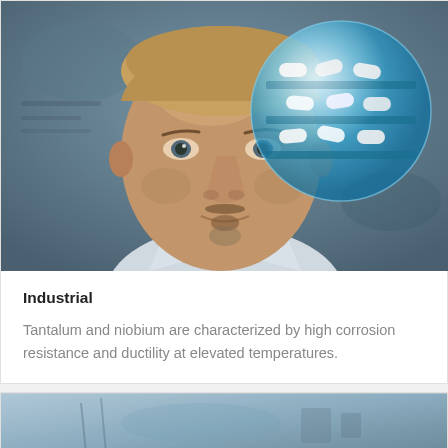[Figure (photo): Close-up portrait of a man in a white lab coat or shirt, with a large translucent blue glass sphere/orb with white capsule pills visible inside, overlaid near his right eye area. Background is blurred grey/teal industrial or lab environment.]
Industrial
Tantalum and niobium are characterized by high corrosion resistance and ductility at elevated temperatures.
[Figure (photo): Partial view of another industrial/science related photo at the bottom of the page, mostly cut off.]